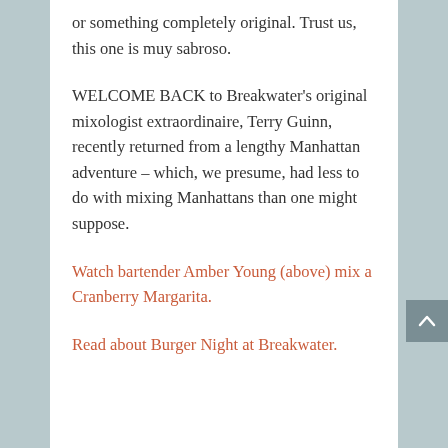or something completely original. Trust us, this one is muy sabroso.
WELCOME BACK to Breakwater's original mixologist extraordinaire, Terry Guinn, recently returned from a lengthy Manhattan adventure – which, we presume, had less to do with mixing Manhattans than one might suppose.
Watch bartender Amber Young (above) mix a Cranberry Margarita.
Read about Burger Night at Breakwater.